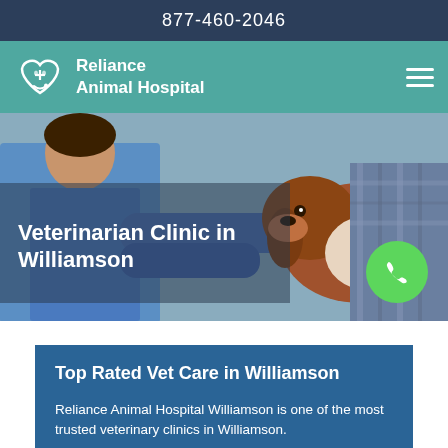877-460-2046
[Figure (logo): Reliance Animal Hospital logo with heart and animal icon in white on teal background, with hamburger menu icon on the right]
[Figure (photo): Veterinarian in blue scrubs and gloves examining a dog held by a person in a plaid shirt. Overlaid text reads 'Veterinarian Clinic in Williamson' with a green phone button in the lower right.]
Veterinarian Clinic in Williamson
Top Rated Vet Care in Williamson
Reliance Animal Hospital Williamson is one of the most trusted veterinary clinics in Williamson.